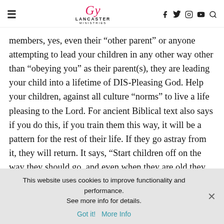Lancaster Ministries
members, yes, even their "other parent" or anyone attempting to lead your children in any other way other than "obeying you" as their parent(s), they are leading your child into a lifetime of DIS-Pleasing God. Help your children, against all culture "norms" to live a life pleasing to the Lord. For ancient Biblical text also says if you do this, if you train them this way, it will be a pattern for the rest of their life. If they go astray from it, they will return. It says, “Start children off on the way they should go, and even when they are old they will not turn from it.” Proverbs 22:6 This is the entire reason God has created your ability as parents to have children so that
This website uses cookies to improve functionality and performance. See more info for details.
Got it!  More Info